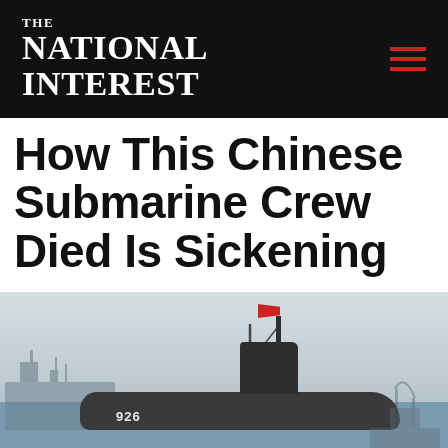THE NATIONAL INTEREST
How This Chinese Submarine Crew Died Is Sickening
[Figure (photo): A Chinese submarine (numbered 926) docked at a naval port with a red flag flying from the conning tower mast. A grey support vessel is visible to the left, and a bridge structure is visible in the foggy background to the right. The photo has a cold, overcast atmospheric tone.]